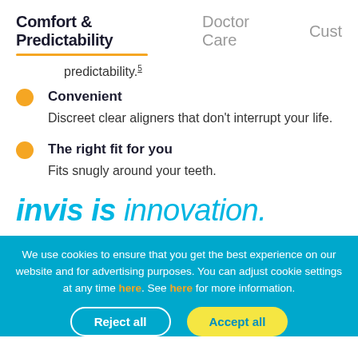Comfort & Predictability  Doctor Care  Cust
predictability.5
Convenient — Discreet clear aligners that don't interrupt your life.
The right fit for you — Fits snugly around your teeth.
invis is innovation.
We use cookies to ensure that you get the best experience on our website and for advertising purposes. You can adjust cookie settings at any time here. See here for more information.
Reject all  Accept all